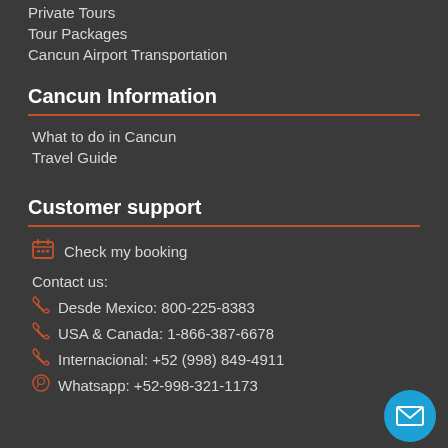Private Tours
Tour Packages
Cancun Airport Transportation
Cancun Information
What to do in Cancun
Travel Guide
Customer support
Check my booking
Contact us:
Desde Mexico: 800-225-8383
USA & Canada: 1-866-387-6678
Internacional: +52 (998) 849-4911
Whatsapp: +52-998-321-1173